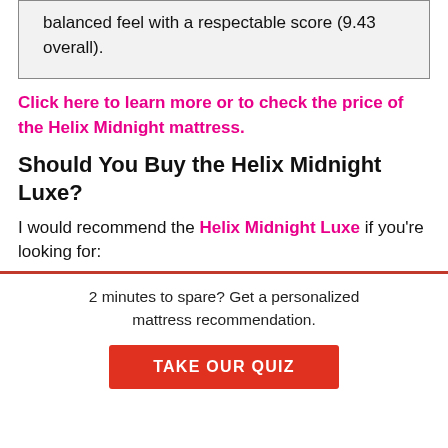balanced feel with a respectable score (9.43 overall).
Click here to learn more or to check the price of the Helix Midnight mattress.
Should You Buy the Helix Midnight Luxe?
I would recommend the Helix Midnight Luxe if you're looking for:
2 minutes to spare? Get a personalized mattress recommendation.
TAKE OUR QUIZ